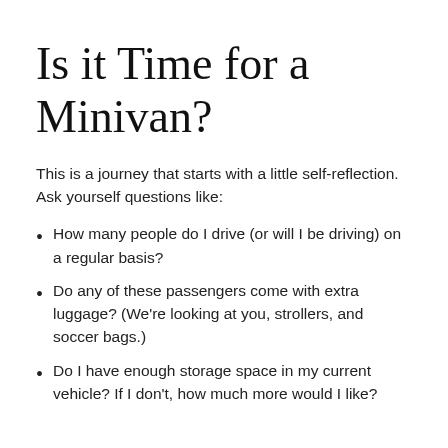Is it Time for a Minivan?
This is a journey that starts with a little self-reflection. Ask yourself questions like:
How many people do I drive (or will I be driving) on a regular basis?
Do any of these passengers come with extra luggage? (We're looking at you, strollers, and soccer bags.)
Do I have enough storage space in my current vehicle? If I don't, how much more would I like?